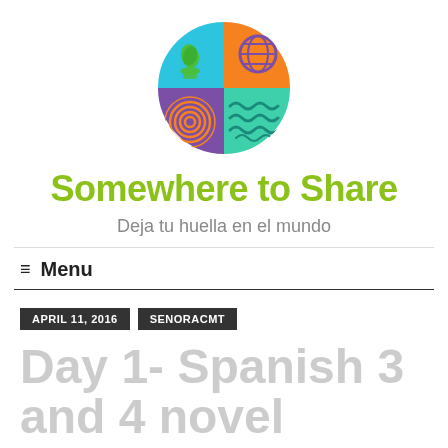[Figure (logo): Circular logo divided into four quadrants: top-left cyan with green plant icon, top-right orange with purple globe icon, bottom-left purple with orange fingerprint icon, bottom-right mint green with teal wave lines icon]
Somewhere to Share
Deja tu huella en el mundo
Menu
APRIL 11, 2016
SENORACMT
Day 1- Spanish 3 and 4 novel studies